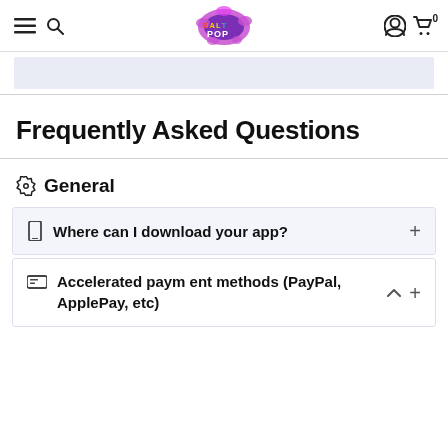SaltPOP navigation bar with menu, search, logo, user account, and cart icons
[Figure (other): Light blue/lavender banner strip below the navigation bar]
Frequently Asked Questions
⚙ General
Where can I download your app?
Accelerated payment methods (PayPal, ApplePay, etc)